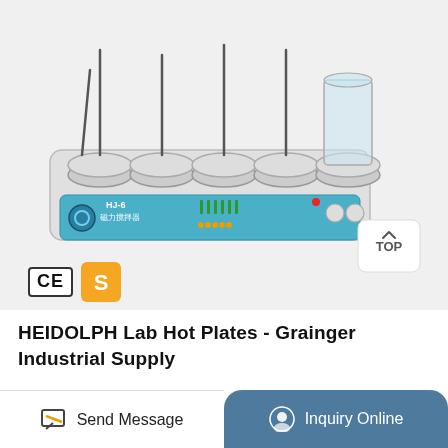[Figure (photo): HJ-6 magnetic stirrer lab hot plate unit with 5 circular heating plates, blue control panel with LED indicators and sliders, metal stirring rods, and a beaker on the rightmost plate. Labeled HJ-6 磁力搅拌器 on the front panel.]
[Figure (logo): CE certification mark badge]
[Figure (logo): Gold shield badge with dollar sign S]
HEIDOLPH Lab Hot Plates - Grainger Industrial Supply
Send Message
Inquiry Online